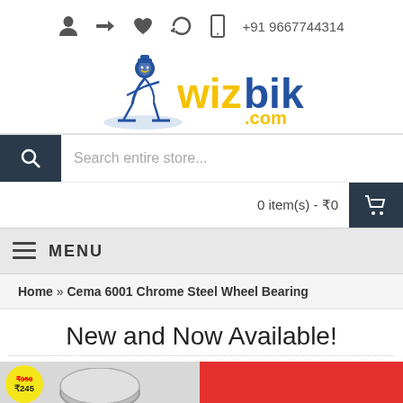User icon, Login icon, Wishlist icon, Refresh icon, Phone icon, +91 9667744314
[Figure (logo): Wizbiker.com logo with illustrated mascot character in blue, with 'wizbiker' in yellow and blue bold text and '.com' in yellow]
Search entire store...
0 item(s) - ₹0
MENU
Home » Cema 6001 Chrome Steel Wheel Bearing
New and Now Available!
[Figure (photo): Product image on grey background with yellow price tag showing ₹350 with strikethrough and lower price, and a red panel on the right]